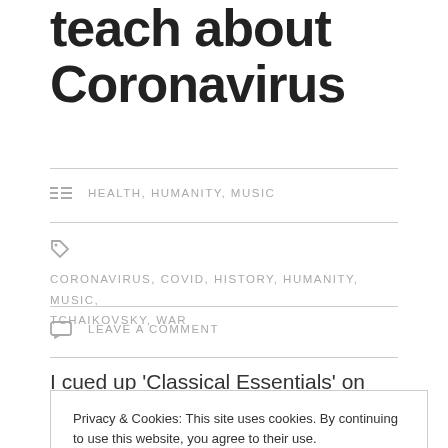teach about Coronavirus
HEALTH, HUMANITY, MUSIC
CORONAVIRUS, COVID, HISTORY, HUMANITY, MUSIC, TCHAIKOVSKY, WAR
LEAVE A COMMENT
I cued up 'Classical Essentials' on Spotify to help
Privacy & Cookies: This site uses cookies. By continuing to use this website, you agree to their use.
To find out more, including how to control cookies, see here: Cookie Policy
Close and accept
period of history over two centuries old.